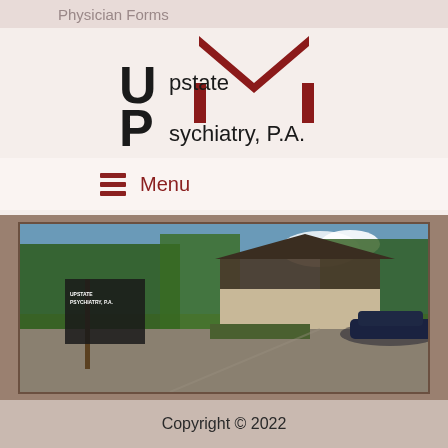Physician Forms
[Figure (logo): Upstate Psychiatry P.A. logo with dark red house/chevron roof shape above the letters U and P, with text 'Upstate Psychiatry, P.A.']
Menu
[Figure (photo): Exterior photograph of Upstate Psychiatry P.A. office building with a sign in the foreground, surrounded by trees and a parking lot with a dark blue car]
Copyright © 2022